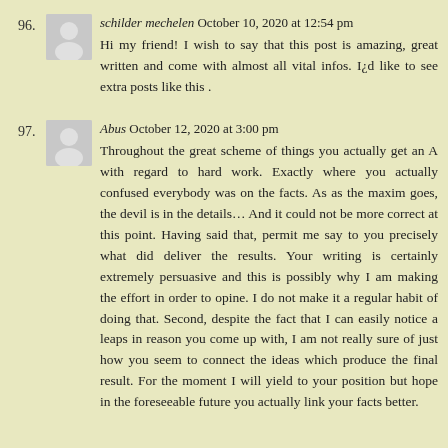96. schilder mechelen October 10, 2020 at 12:54 pm
Hi my friend! I wish to say that this post is amazing, great written and come with almost all vital infos. I¿d like to see extra posts like this .
97. Abus October 12, 2020 at 3:00 pm
Throughout the great scheme of things you actually get an A with regard to hard work. Exactly where you actually confused everybody was on the facts. As as the maxim goes, the devil is in the details… And it could not be more correct at this point. Having said that, permit me say to you precisely what did deliver the results. Your writing is certainly extremely persuasive and this is possibly why I am making the effort in order to opine. I do not make it a regular habit of doing that. Second, despite the fact that I can easily notice a leaps in reason you come up with, I am not really sure of just how you seem to connect the ideas which produce the final result. For the moment I will yield to your position but hope in the foreseeable future you actually link your facts better.